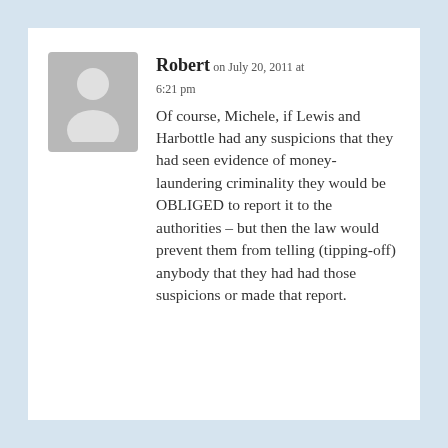[Figure (illustration): Grey placeholder avatar silhouette of a person on a grey background square]
Robert on July 20, 2011 at 6:21 pm
Of course, Michele, if Lewis and Harbottle had any suspicions that they had seen evidence of money-laundering criminality they would be OBLIGED to report it to the authorities – but then the law would prevent them from telling (tipping-off) anybody that they had had those suspicions or made that report.